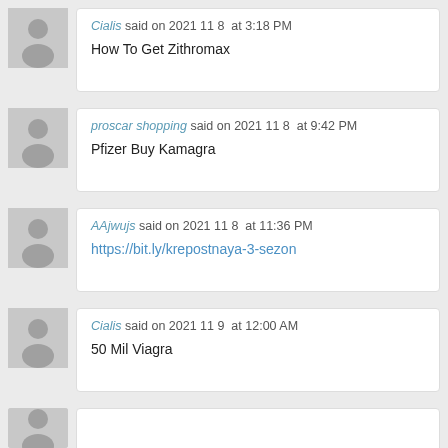Cialis said on 2021 11 8  at 3:18 PM
How To Get Zithromax
proscar shopping said on 2021 11 8  at 9:42 PM
Pfizer Buy Kamagra
AAjwujs said on 2021 11 8  at 11:36 PM
https://bit.ly/krepostnaya-3-sezon
Cialis said on 2021 11 9  at 12:00 AM
50 Mil Viagra